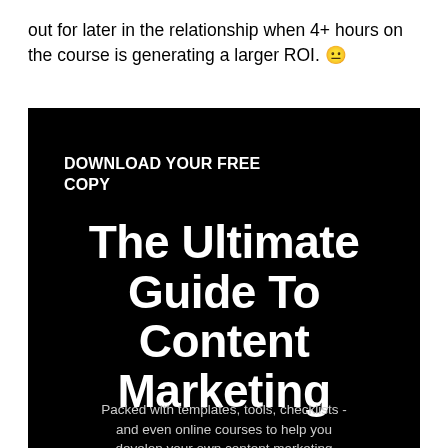out for later in the relationship when 4+ hours on the course is generating a larger ROI. 😤
[Figure (illustration): Black background promotional banner for a free download. Contains heading 'DOWNLOAD YOUR FREE COPY', large title 'The Ultimate Guide To Content Marketing', and subtitle text 'Packed with templates, tools, checklists - and even online courses to help you develop your own content marketing']